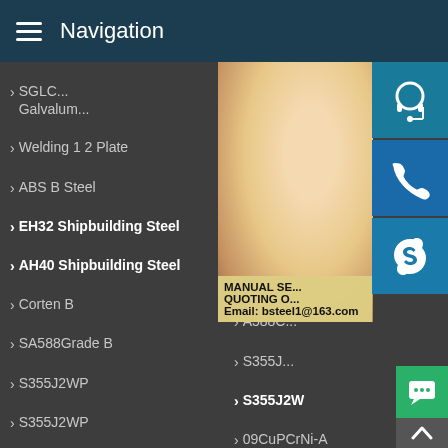Navigation
SGLC... Galvalum...
Welding 1 2 Plate
Hobby... Sheets S...
ABS B Steel
ABS D...
EH32 Shipbuilding Steel
AH36...
AH40 Shipbuilding Steel
Corten...
Corten B
A588C...
SA588Grade B
S355J...
S355J2WP
S355J2W
S355J2WP
09CuPCrNi-A
05CuPCrNi
Q355GNH
Q355NH
A204 Grade B
A285 Grade C
A387 Grade 11 Class1
[Figure (photo): Customer service representative photo with contact icons (headset, phone, Skype) and contact info overlay showing Email: bsteel1@163.com]